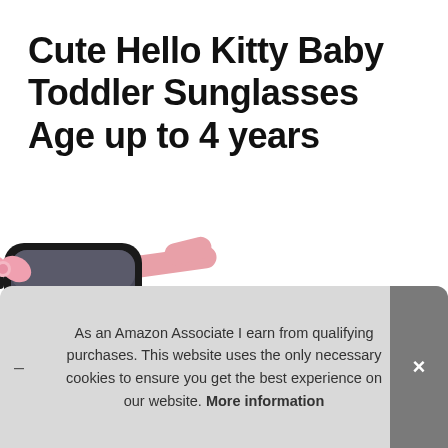Cute Hello Kitty Baby Toddler Sunglasses Age up to 4 years
[Figure (photo): Hello Kitty style toddler sunglasses with black frames, dark gradient lenses, pink bow accent on the bridge, and pink arms/temples, shown on white background with slight reflection underneath.]
As an Amazon Associate I earn from qualifying purchases. This website uses the only necessary cookies to ensure you get the best experience on our website. More information